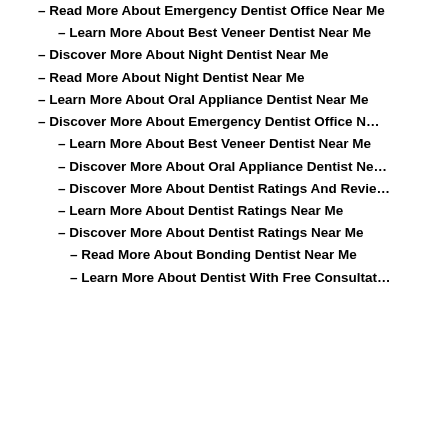– Read More About Emergency Dentist Office Near Me
– Learn More About Best Veneer Dentist Near Me
– Discover More About Night Dentist Near Me
– Read More About Night Dentist Near Me
– Learn More About Oral Appliance Dentist Near Me
– Discover More About Emergency Dentist Office N…
– Learn More About Best Veneer Dentist Near Me
– Discover More About Oral Appliance Dentist Ne…
– Discover More About Dentist Ratings And Revie…
– Learn More About Dentist Ratings Near Me
– Discover More About Dentist Ratings Near Me
– Read More About Bonding Dentist Near Me
– Learn More About Dentist With Free Consultat…